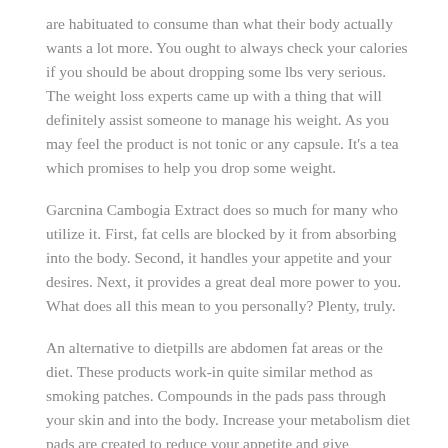are habituated to consume than what their body actually wants a lot more. You ought to always check your calories if you should be about dropping some lbs very serious. The weight loss experts came up with a thing that will definitely assist someone to manage his weight. As you may feel the product is not tonic or any capsule. It's a tea which promises to help you drop some weight.
Garcnina Cambogia Extract does so much for many who utilize it. First, fat cells are blocked by it from absorbing into the body. Second, it handles your appetite and your desires. Next, it provides a great deal more power to you. What does all this mean to you personally? Plenty, truly.
An alternative to dietpills are abdomen fat areas or the diet. These products work-in quite similar method as smoking patches. Compounds in the pads pass through your skin and into the body. Increase your metabolism diet pads are created to reduce your appetite and give